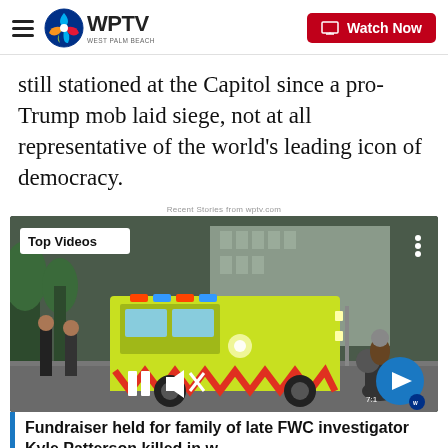WPTV West Palm Beach — Watch Now
still stationed at the Capitol since a pro-Trump mob laid siege, not at all representative of the world's leading icon of democracy.
Recent Stories from wptv.com
[Figure (screenshot): Video player showing a green ambulance/fire truck on a street with a motorcycle officer escort. Overlay shows 'Top Videos' badge, pause and mute controls, and a next arrow button. Caption: Fundraiser held for family of late FWC investigator Kyle Patterson killed in w…]
Fundraiser held for family of late FWC investigator Kyle Patterson killed in w…